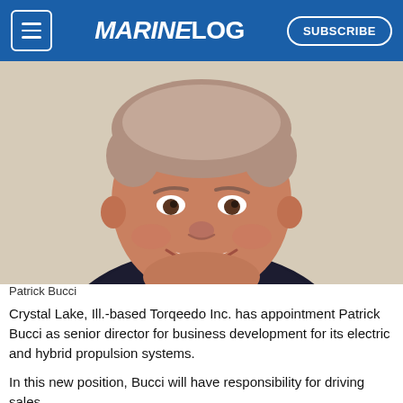MARINELOG | SUBSCRIBE
[Figure (photo): Portrait photo of Patrick Bucci, a middle-aged man with short gray-reddish hair, smiling, wearing a dark blazer and light blue shirt, against a light textured wall background.]
Patrick Bucci
Crystal Lake, Ill.-based Torqeedo Inc. has appointment Patrick Bucci as senior director for business development for its electric and hybrid propulsion systems.
In this new position, Bucci will have responsibility for driving sales